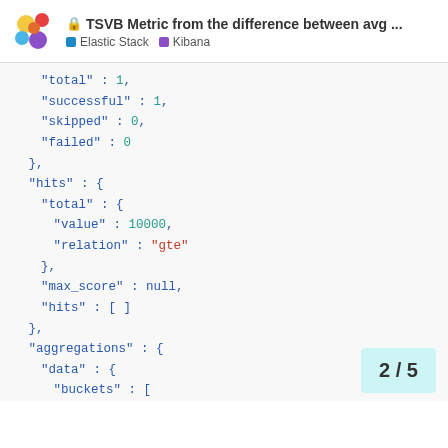TSVB Metric from the difference between avg ... | Elastic Stack · Kibana
"total" : 1,
"successful" : 1,
"skipped" : 0,
"failed" : 0
},
"hits" : {
  "total" : {
    "value" : 10000,
    "relation" : "gte"
  },
  "max_score" : null,
  "hits" : [ ]
},
"aggregations" : {
  "data" : {
    "buckets" : [
      {
        "key_as_string" : "2...
        "key" : 163615680000...